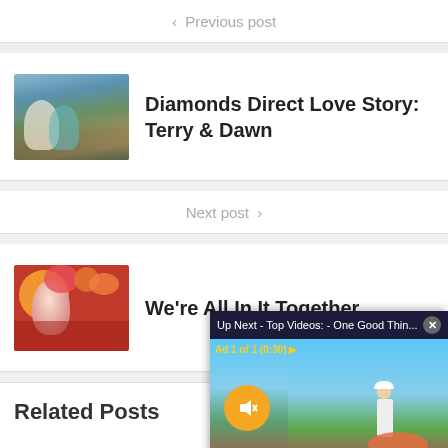< Previous post
[Figure (photo): Thumbnail photo of couple outdoors at sunset]
Diamonds Direct Love Story: Terry & Dawn
Next post >
[Figure (illustration): Colorful illustration of woman with flower headdress on red background]
We're All In It Together
[Figure (screenshot): Video ad popup: Up Next - Top Videos: - One Good Thin... with mute button and worker scene. Ad 1 of 1 (0:30)]
Related Posts